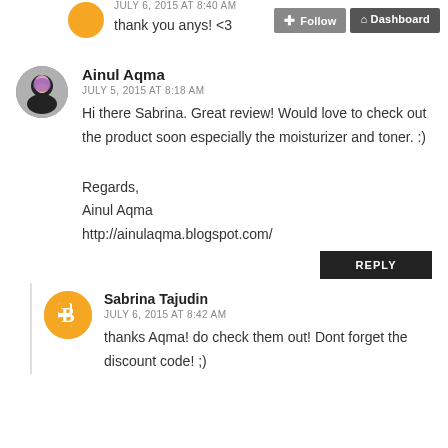thank you anys! <3
Ainul Aqma
JULY 5, 2015 AT 8:18 AM
Hi there Sabrina. Great review! Would love to check out the product soon especially the moisturizer and toner. :)
Regards,
Ainul Aqma
http://ainulaqma.blogspot.com/
REPLY
Sabrina Tajudin
JULY 6, 2015 AT 8:42 AM
thanks Aqma! do check them out! Dont forget the discount code! ;)